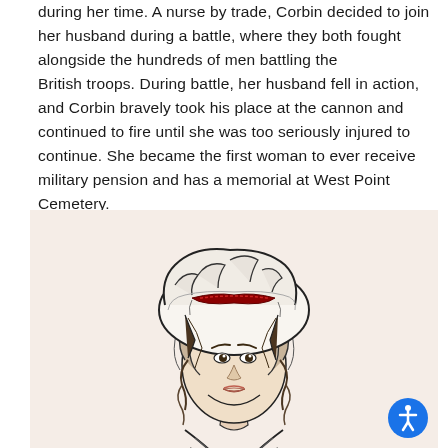during her time. A nurse by trade, Corbin decided to join her husband during a battle, where they both fought alongside the hundreds of men battling the British troops. During battle, her husband fell in action, and Corbin bravely took his place at the cannon and continued to fire until she was too seriously injured to continue. She became the first woman to ever receive military pension and has a memorial at West Point Cemetery.
[Figure (illustration): Illustration of a woman wearing a colonial-era bonnet/hat with a red ribbon, with curly hair and a scarf around her neck, drawn in a black ink sketch style on a light beige/pink background. Likely depicting Margaret Corbin.]